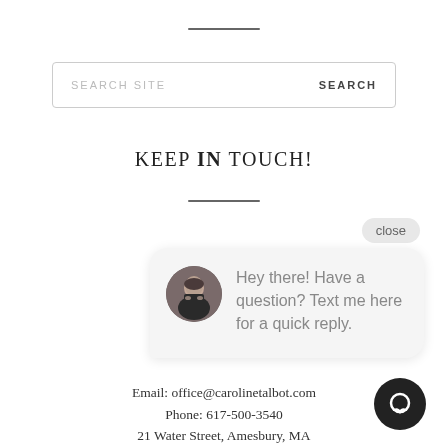[Figure (other): Horizontal decorative rule line at top of page]
[Figure (screenshot): Search site input box with SEARCH SITE placeholder text and SEARCH button]
KEEP IN TOUCH!
[Figure (other): Horizontal decorative rule line below title]
close
[Figure (infographic): Chat popup bubble with avatar photo of a woman and text: Hey there! Have a question? Text me here for a quick reply.]
Email: office@carolinetalbot.com
Phone: 617-500-3540
21 Water Street, Amesbury, MA
[Figure (other): Dark circular chat icon button at bottom right]